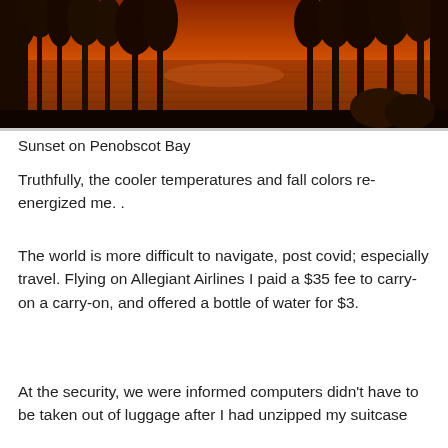[Figure (photo): Sunset over Penobscot Bay with dark silhouetted trees in foreground and orange-red sky reflecting on water]
Sunset on Penobscot Bay
Truthfully, the cooler temperatures and fall colors re-energized me. .
The world is more difficult to navigate, post covid; especially travel. Flying on Allegiant Airlines I paid a $35 fee to carry-on a carry-on, and offered a bottle of water for $3.
At the security, we were informed computers didn't have to be taken out of luggage after I had unzipped my suitcase